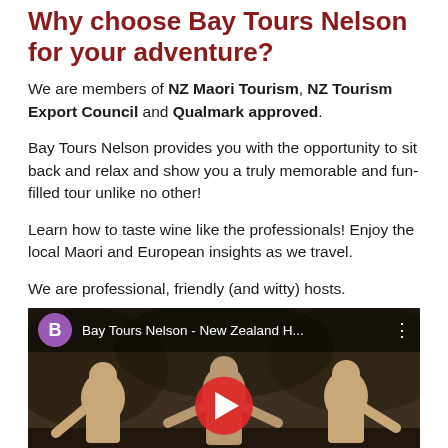Why choose Bay Tours Nelson for your adventure?
We are members of NZ Maori Tourism, NZ Tourism Export Council and Qualmark approved.
Bay Tours Nelson provides you with the opportunity to sit back and relax and show you a truly memorable and fun-filled tour unlike no other!
Learn how to taste wine like the professionals! Enjoy the local Maori and European insights as we travel.
We are professional, friendly (and witty) hosts.
[Figure (screenshot): YouTube video thumbnail showing Bay Tours Nelson - New Zealand H... with a purple avatar 'B', three-dot menu, and a red play button over a dark scene of people outdoors.]